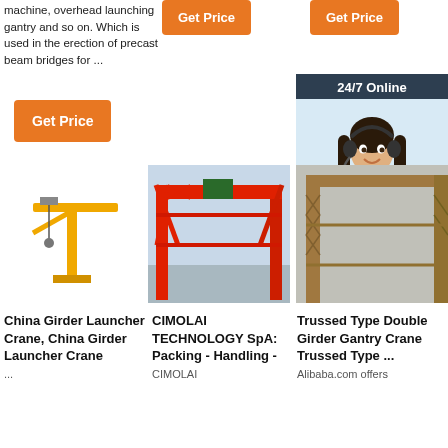machine, overhead launching gantry and so on. Which is used in the erection of precast beam bridges for ...
[Figure (other): Orange 'Get Price' button (top center)]
[Figure (other): Orange 'Get Price' button (top right)]
[Figure (other): Orange 'Get Price' button (left)]
[Figure (other): 24/7 Online chat widget with woman wearing headset and QUOTATION button]
[Figure (photo): Yellow jib crane illustration]
[Figure (photo): Red gantry crane in construction site]
[Figure (photo): Trussed type double girder gantry crane structure]
China Girder Launcher Crane, China Girder Launcher Crane ...
CIMOLAI TECHNOLOGY SpA: Packing - Handling - CIMOLAI
Trussed Type Double Girder Gantry Crane Trussed Type ... Alibaba.com offers